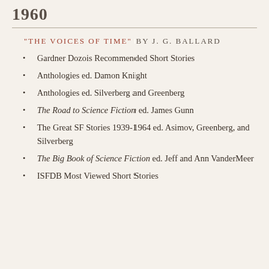1960
"THE VOICES OF TIME" BY J. G. BALLARD
Gardner Dozois Recommended Short Stories
Anthologies ed. Damon Knight
Anthologies ed. Silverberg and Greenberg
The Road to Science Fiction ed. James Gunn
The Great SF Stories 1939-1964 ed. Asimov, Greenberg, and Silverberg
The Big Book of Science Fiction ed. Jeff and Ann VanderMeer
ISFDB Most Viewed Short Stories